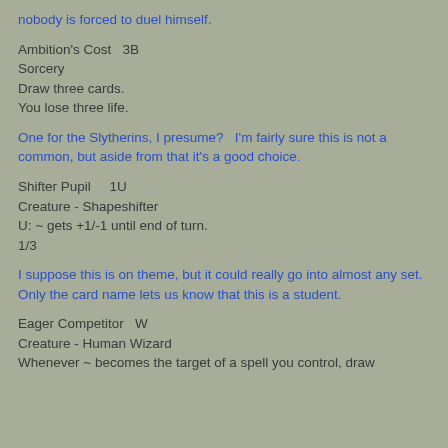nobody is forced to duel himself.
Ambition's Cost  3B
Sorcery
Draw three cards.
You lose three life.
One for the Slytherins, I presume?  I'm fairly sure this is not a common, but aside from that it's a good choice.
Shifter Pupil   1U
Creature - Shapeshifter
U: ~ gets +1/-1 until end of turn.
1/3
I suppose this is on theme, but it could really go into almost any set.  Only the card name lets us know that this is a student.
Eager Competitor  W
Creature - Human Wizard
Whenever ~ becomes the target of a spell you control, draw